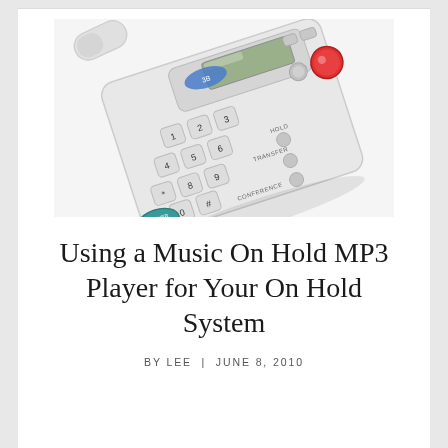[Figure (photo): Close-up photograph of a white office desk telephone with numeric keypad, LCD display, red button, and speaker button visible on a white background]
Using a Music On Hold MP3 Player for Your On Hold System
BY LEE | JUNE 8, 2010